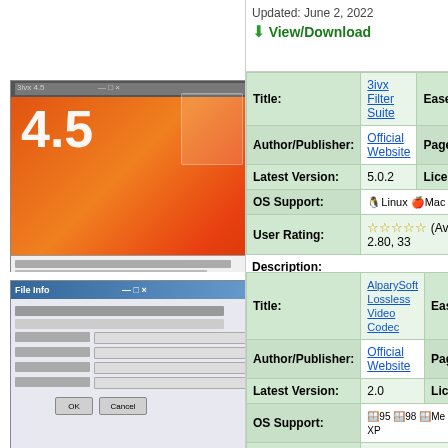Updated: June 2, 2022
View/Download
[Figure (screenshot): 3ivx Filter Suite version 4.5 software screenshot with orange gradient background]
| Title: | 3ivx Filter Suite | Ease of use: |
| --- | --- | --- |
| Author/Publisher: | Official Website | Page Viewed: |
| Latest Version: | 5.0.2 | License: |
| OS Support: | Linux Mac OS |  |
| User Rating: | ☆☆☆☆☆ (Avg. rating: 2.80, 33 |  |
Description:
Download 3ivx, a MPEG-4 codec
Updated: December 22, 2007
View/Download
[Figure (screenshot): AlparySoft Lossless Video Codec settings dialog screenshot]
| Title: | AlparySoft Lossless Video Codec | Ease of use: |
| --- | --- | --- |
| Author/Publisher: | Official Website | Page Viewed: |
| Latest Version: | 2.0 | License: |
| OS Support: | 95 98 Me 2000 XP |  |
| User Rating: | ☆☆☆☆☆ (Avg. rating: 2.06, 10 |  |
Description:
Download the AlparySoft Lossless Video Codec, a loss-less compression codec